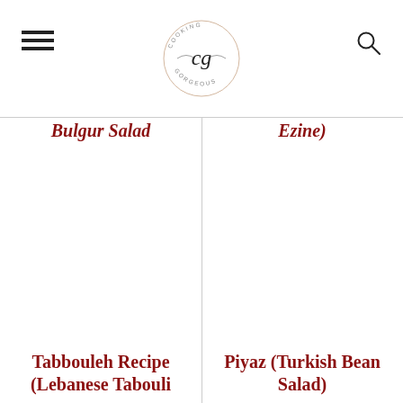Cooking Gorgeous
Bulgur Salad ... (partial, cut off top)
Ezine) (partial, cut off top)
Tabbouleh Recipe (Lebanese Tabouli
Piyaz (Turkish Bean Salad)